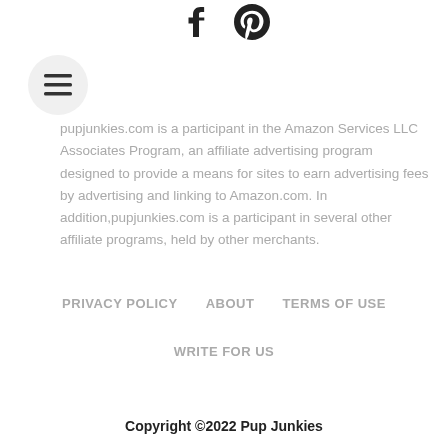[Figure (other): Social media icons: Facebook and Pinterest]
[Figure (other): Hamburger menu button (three horizontal lines) in a circle]
pupjunkies.com is a participant in the Amazon Services LLC Associates Program, an affiliate advertising program designed to provide a means for sites to earn advertising fees by advertising and linking to Amazon.com. In addition,pupjunkies.com is a participant in several other affiliate programs, held by other merchants.
PRIVACY POLICY   ABOUT   TERMS OF USE
WRITE FOR US
Copyright ©2022 Pup Junkies